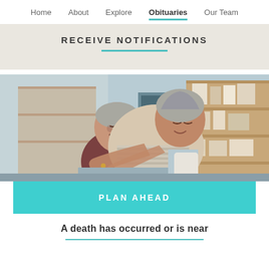Home   About   Explore   Obituaries   Our Team
RECEIVE NOTIFICATIONS
[Figure (photo): An elderly couple embracing warmly indoors, with bookshelves in the background. The woman hugs the man from behind, both smiling.]
PLAN AHEAD
A death has occurred or is near